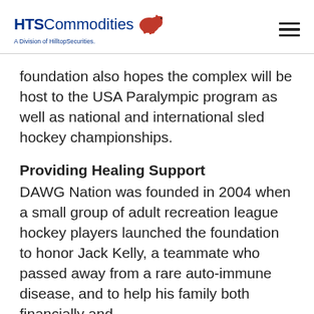HTS Commodities – A Division of HilltopSecurities
foundation also hopes the complex will be host to the USA Paralympic program as well as national and international sled hockey championships.
Providing Healing Support
DAWG Nation was founded in 2004 when a small group of adult recreation league hockey players launched the foundation to honor Jack Kelly, a teammate who passed away from a rare auto-immune disease, and to help his family both financially and